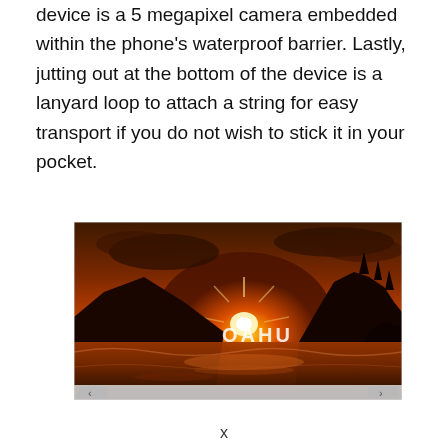device is a 5 megapixel camera embedded within the phone's waterproof barrier. Lastly, jutting out at the bottom of the device is a lanyard loop to attach a string for easy transport if you do not wish to stick it in your pocket.
[Figure (photo): A sunset photo over a rocky coastline with ocean water and silhouetted cliffs. The word 'OAHU' is overlaid in white text in the center of the image. The sky is dramatically lit with orange and golden tones from the setting sun.]